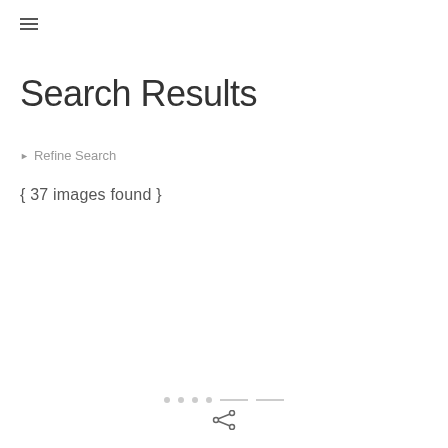≡
Search Results
▶ Refine Search
{ 37 images found }
share icon / navigation dots